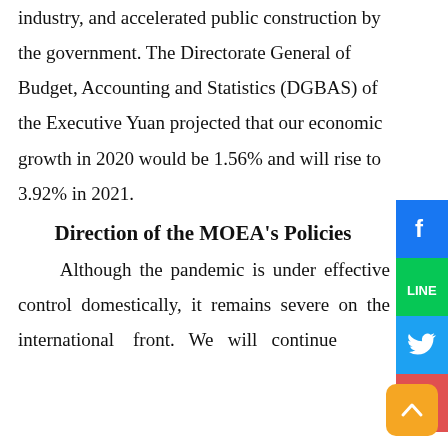industry, and accelerated public construction by the government. The Directorate General of Budget, Accounting and Statistics (DGBAS) of the Executive Yuan projected that our economic growth in 2020 would be 1.56% and will rise to 3.92% in 2021.
Direction of the MOEA's Policies
Although the pandemic is under effective control domestically, it remains severe on the international front. We will continue